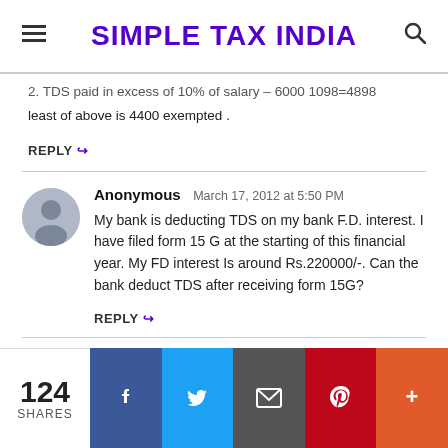SIMPLE TAX INDIA
TDS paid in excess of 10% of salary – 6000 1098=4898

least of above is 4400 exempted .
REPLY
Anonymous  March 17, 2012 at 5:50 PM
My bank is deducting TDS on my bank F.D. interest. I have filed form 15 G at the starting of this financial year. My FD interest Is around Rs.220000/-. Can the bank deduct TDS after receiving form 15G?
REPLY
RAJKUMARI  March 17, 2012 at 8:10 PM
124 SHARES